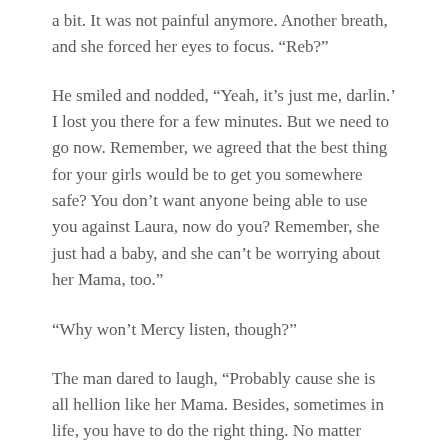a bit. It was not painful anymore. Another breath, and she forced her eyes to focus. “Reb?”
He smiled and nodded, “Yeah, it’s just me, darlin.’ I lost you there for a few minutes. But we need to go now. Remember, we agreed that the best thing for your girls would be to get you somewhere safe? You don’t want anyone being able to use you against Laura, now do you? Remember, she just had a baby, and she can’t be worrying about her Mama, too.”
“Why won’t Mercy listen, though?”
The man dared to laugh, “Probably cause she is all hellion like her Mama. Besides, sometimes in life, you have to do the right thing. No matter what the costs. I bet you’ve done that a lot, haven’t you,